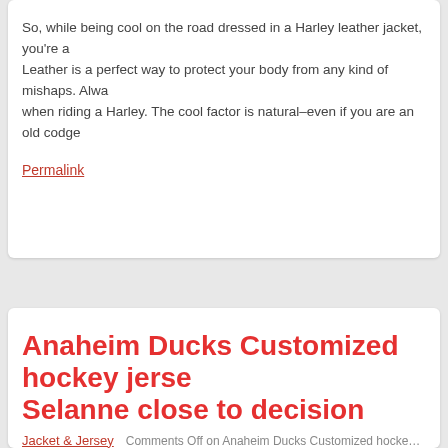So, while being cool on the road dressed in a Harley leather jacket, you're a... Leather is a perfect way to protect your body from any kind of mishaps. Alwa... when riding a Harley. The cool factor is natural–even if you are an old codge...
Permalink
Anaheim Ducks Customized hockey jerse... Selanne close to decision
Jacket & Jersey   Comments Off on Anaheim Ducks Customized hockey jersey Teemu Sela...
[Figure (photo): Photo of a young blonde woman in a white top, holding a dark bag with colorful sneakers visible in the lower left corner]
Selanne Teemu closer to the final decision on whether he will come back to... season, according to multiple reports.